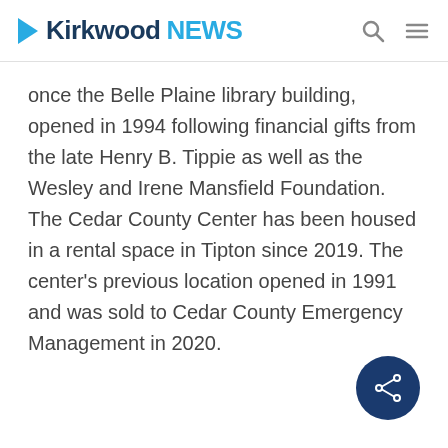Kirkwood NEWS
once the Belle Plaine library building, opened in 1994 following financial gifts from the late Henry B. Tippie as well as the Wesley and Irene Mansfield Foundation. The Cedar County Center has been housed in a rental space in Tipton since 2019. The center's previous location opened in 1991 and was sold to Cedar County Emergency Management in 2020.